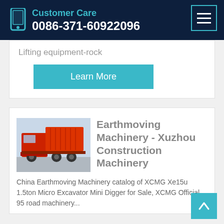Customer Care
0086-371-60922096
Lifting equipment-rock
Learn More
Earthmoving Machinery - Xuzhou Construction Machinery
China Earthmoving Machinery catalog of XCMG Xe15u 1.5ton Micro Excavator Mini Digger for Sale, XCMG Official 95 road machinery...